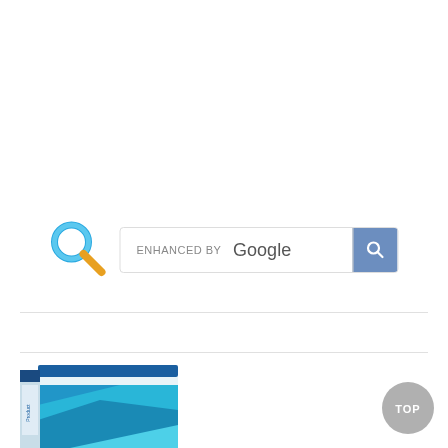[Figure (screenshot): Google enhanced search bar with a blue magnifying glass icon on the left and a blue search button on the right]
[Figure (photo): Partial product box with blue geometric design, partially cropped at bottom of page]
[Figure (illustration): TOP button - circular gray button with TOP text in white, positioned bottom right]